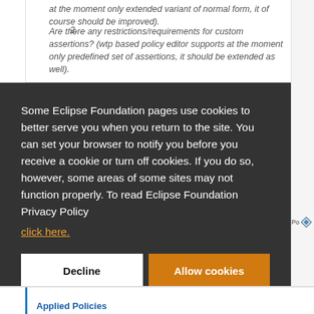at the moment only extended variant of normal form, it of course should be improved).
2. Are there any restrictions/requirements for custom assertions? (wtp based policy editor supports at the moment only predefined set of assertions, it should be extended as well).
Some Eclipse Foundation pages use cookies to better serve you when you return to the site. You can set your browser to notify you before you receive a cookie or turn off cookies. If you do so, however, some areas of some sites may not function properly. To read Eclipse Foundation Privacy Policy
click here.
Decline
Allow cookies
Applied Policies